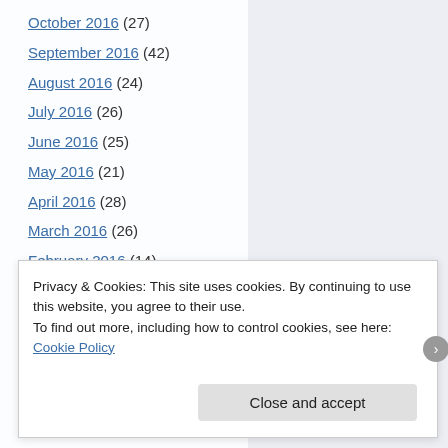October 2016 (27)
September 2016 (42)
August 2016 (24)
July 2016 (26)
June 2016 (25)
May 2016 (21)
April 2016 (28)
March 2016 (26)
February 2016 (14)
January 2016 (14)
December 2015 (31)
November 2015 (18)
Privacy & Cookies: This site uses cookies. By continuing to use this website, you agree to their use. To find out more, including how to control cookies, see here: Cookie Policy
Close and accept